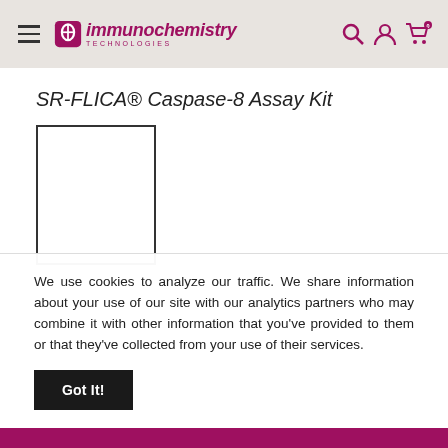immunochemistry TECHNOLOGIES
SR-FLICA® Caspase-8 Assay Kit
[Figure (photo): Product image placeholder — white box with dark border for SR-FLICA® Caspase-8 Assay Kit]
We use cookies to analyze our traffic. We share information about your use of our site with our analytics partners who may combine it with other information that you've provided to them or that they've collected from your use of their services.
Got It!